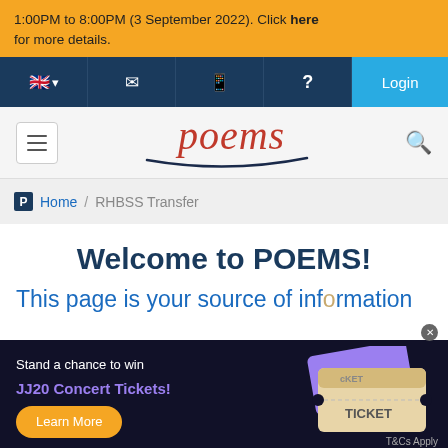1:00PM to 8:00PM (3 September 2022). Click here for more details.
[Figure (screenshot): Navigation bar with UK flag, envelope, phone, question mark icons and Login button]
[Figure (logo): POEMS logo in red italic script with dark curved underline]
Home / RHBSS Transfer
Welcome to POEMS!
This page is your source of information
[Figure (infographic): Popup banner: Stand a chance to win JJ20 Concert Tickets! Learn More button, ticket illustration, T&Cs Apply]